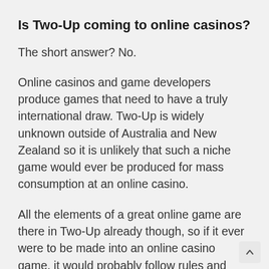Is Two-Up coming to online casinos?
The short answer? No.
Online casinos and game developers produce games that need to have a truly international draw. Two-Up is widely unknown outside of Australia and New Zealand so it is unlikely that such a niche game would ever be produced for mass consumption at an online casino.
All the elements of a great online game are there in Two-Up already though, so if it ever were to be made into an online casino game, it would probably follow rules and odds similar to the now defunct bricks and mortar casino